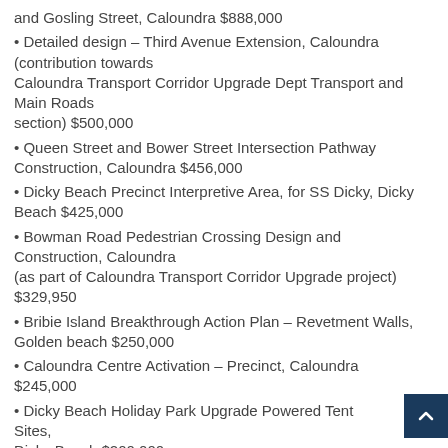and Gosling Street, Caloundra $888,000
• Detailed design – Third Avenue Extension, Caloundra (contribution towards Caloundra Transport Corridor Upgrade Dept Transport and Main Roads section) $500,000
• Queen Street and Bower Street Intersection Pathway Construction, Caloundra $456,000
• Dicky Beach Precinct Interpretive Area, for SS Dicky, Dicky Beach $425,000
• Bowman Road Pedestrian Crossing Design and Construction, Caloundra (as part of Caloundra Transport Corridor Upgrade project) $329,950
• Bribie Island Breakthrough Action Plan – Revetment Walls, Golden beach $250,000
• Caloundra Centre Activation – Precinct, Caloundra $245,000
• Dicky Beach Holiday Park Upgrade Powered Tent Sites, Dicky Beach $200,000